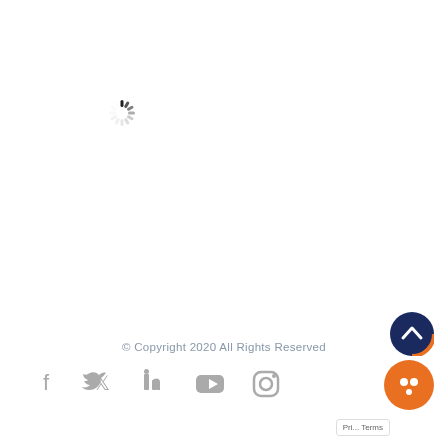[Figure (other): Loading spinner icon (spinning wheel/throbber) positioned in upper-left quadrant of the page]
© Copyright 2020 All Rights Reserved
[Figure (other): Social media icon bar with Facebook, Twitter, LinkedIn, YouTube, and Instagram icons in gray]
[Figure (other): Scroll-to-top button (dark blue circle with white chevron up arrow) and orange chat bubble widget in bottom-right corner]
Pri... Terms